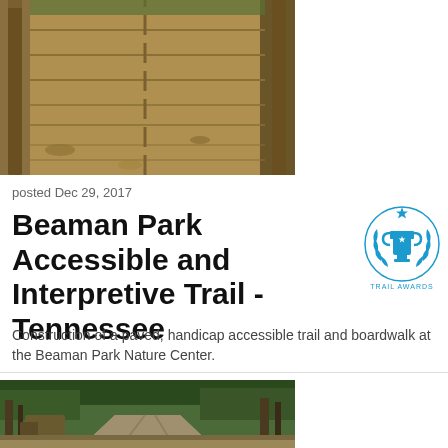[Figure (photo): Wooden boardwalk trail with railing, viewed from end looking down the path, surrounded by fallen leaves and trees]
posted Dec 29, 2017
Beaman Park Accessible and Interpretive Trail - Tennessee
[Figure (logo): Trail Awards badge - blue trophy cup icon with laurel wreath and stars, text reads TRAIL AWARDS]
Construction of a paved, handicap accessible trail and boardwalk at the Beaman Park Nature Center.
[Figure (photo): Dirt trail through a forested area with construction equipment visible on the left side, trees lining both sides of the path]